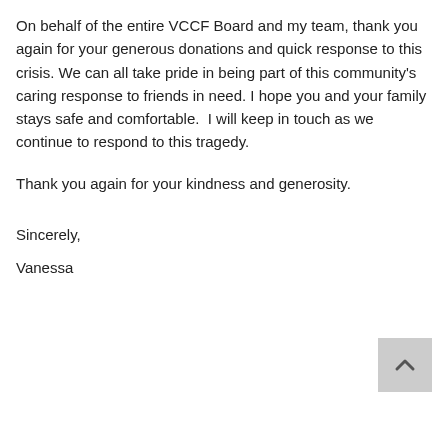On behalf of the entire VCCF Board and my team, thank you again for your generous donations and quick response to this crisis. We can all take pride in being part of this community's caring response to friends in need. I hope you and your family stays safe and comfortable.  I will keep in touch as we continue to respond to this tragedy.
Thank you again for your kindness and generosity.
Sincerely,
Vanessa